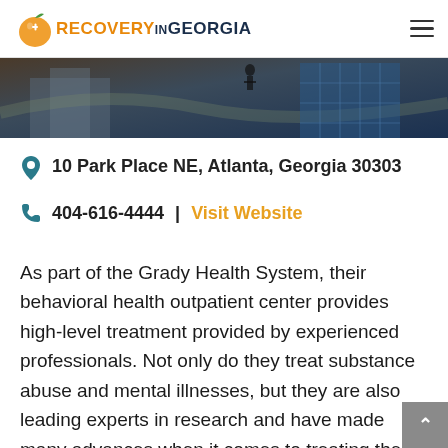RECOVERY IN GEORGIA
[Figure (photo): Architectural photo showing a building exterior with modern glass facade, dark tones with blue tints]
10 Park Place NE, Atlanta, Georgia 30303
404-616-4444 | Visit Website
As part of the Grady Health System, their behavioral health outpatient center provides high-level treatment provided by experienced professionals. Not only do they treat substance abuse and mental illnesses, but they are also leading experts in research and have made many advances when it comes to treating these diseases.